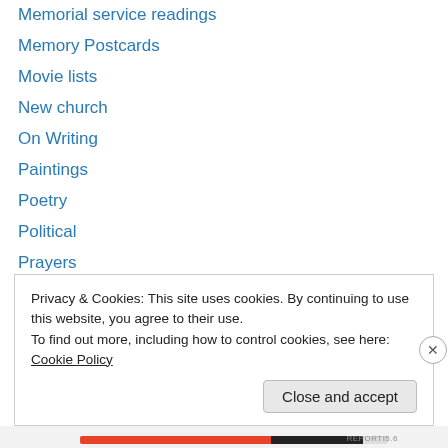Memorial service readings
Memory Postcards
Movie lists
New church
On Writing
Paintings
Poetry
Political
Prayers
Praying in Color
Predictive Text
Rambles
Recipes
Privacy & Cookies: This site uses cookies. By continuing to use this website, you agree to their use.
To find out more, including how to control cookies, see here: Cookie Policy
Close and accept